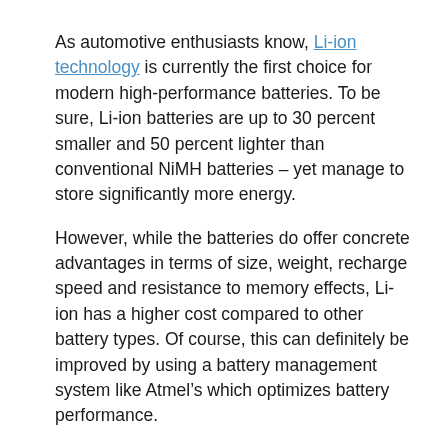As automotive enthusiasts know, Li-ion technology is currently the first choice for modern high-performance batteries. To be sure, Li-ion batteries are up to 30 percent smaller and 50 percent lighter than conventional NiMH batteries – yet manage to store significantly more energy.
However, while the batteries do offer concrete advantages in terms of size, weight, recharge speed and resistance to memory effects, Li-ion has a higher cost compared to other battery types. Of course, this can definitely be improved by using a battery management system like Atmel's which optimizes battery performance.
“Our Li-ion battery management solution offers high accuracy analog measurement functions in combination with efficient active cell balancing ensuring optimum usage of battery capacity,” an Atmel engineering rep told Bits & Pieces. “Specifically, the megaAVR, ATmega32HVE2 and